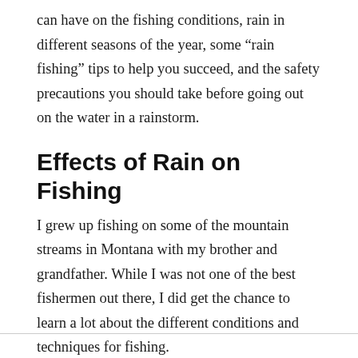can have on the fishing conditions, rain in different seasons of the year, some “rain fishing” tips to help you succeed, and the safety precautions you should take before going out on the water in a rainstorm.
Effects of Rain on Fishing
I grew up fishing on some of the mountain streams in Montana with my brother and grandfather. While I was not one of the best fishermen out there, I did get the chance to learn a lot about the different conditions and techniques for fishing.